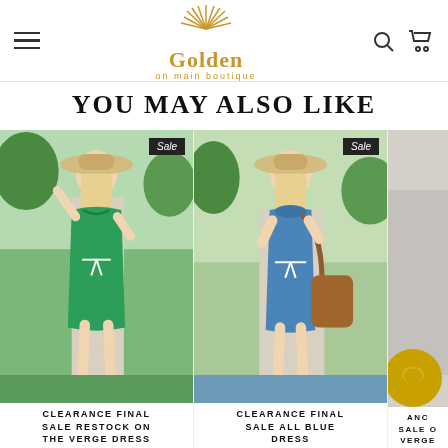[Figure (logo): Golden on main boutique logo with sunburst above text]
YOU MAY ALSO LIKE
[Figure (photo): Woman in green wrap dress with white drawstring tie and wide brim hat, outdoors, Sale badge]
[Figure (photo): Woman in blue sleeveless dress with white drawstring tie, brown bag, wide brim hat, outdoors, Sale badge]
[Figure (photo): Partially visible third product photo, cropped on right edge]
CLEARANCE FINAL SALE RESTOCK ON THE VERGE DRESS
CLEARANCE FINAL SALE ALL BLUE DRESS
ANC SALE O VERGE